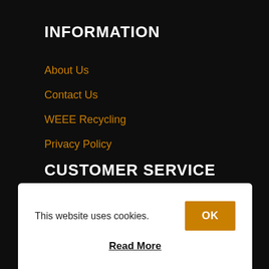INFORMATION
About Us
Contact Us
WEEE Recycling
Privacy Policy
CUSTOMER SERVICE
Terms and Conditions
Deliveries & Collections
This website uses cookies.
Read More